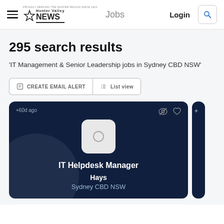Hunter Valley NEWS Jobs | Login
295 search results
'IT Management & Senior Leadership jobs in Sydney CBD NSW'
CREATE EMAIL ALERT | List view
+60d ago | IT Helpdesk Manager | Hays | Sydney CBD NSW